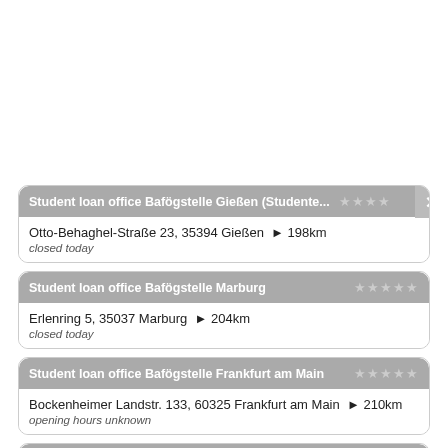Student loan office Bafögstelle Gießen (Studente... ★★★★ | Otto-Behaghel-Straße 23, 35394 Gießen ► 198km | closed today
Student loan office Bafögstelle Marburg ★★★★★ | Erlenring 5, 35037 Marburg ► 204km | closed today
Student loan office Bafögstelle Frankfurt am Main ★★★★★ | Bockenheimer Landstr. 133, 60325 Frankfurt am Main ► 210km | opening hours unknown
Student loan office Bafögamt Bielefeld (Studente... ★★★★★ | Universitätsstr. 25, 33615 Bielefeld ► 211km | closed today
Student loan office Bafögstelle Worms (Studente... ★★★★